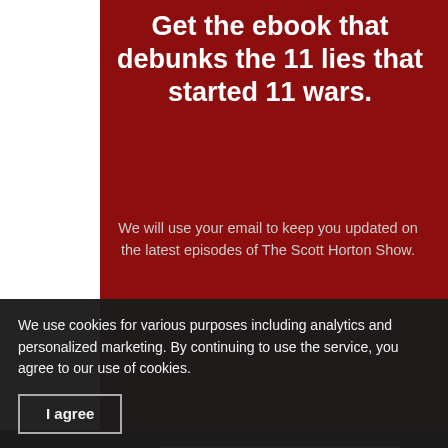Get the ebook that debunks the 11 lies that started 11 wars.
We will use your email to keep you updated on the latest episodes of The Scott Horton Show.
[Figure (screenshot): Web form with Name and Email input fields, a 'I want the free ebook!' button, and 'Submit email to reveal your download' text, on a dark background]
We use cookies for various purposes including analytics and personalized marketing. By continuing to use the service, you agree to our use of cookies.
I agree